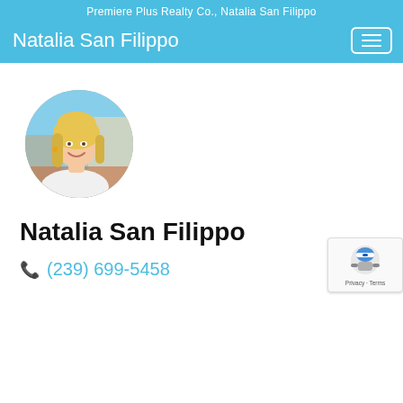Premiere Plus Realty Co., Natalia San Filippo
Natalia San Filippo
[Figure (photo): Circular profile photo of Natalia San Filippo, a blonde woman smiling, wearing white, outdoors with warm background]
Natalia San Filippo
(239) 699-5458
[Figure (logo): Google reCAPTCHA badge with blue/grey robot icon and 'Privacy - Terms' text]